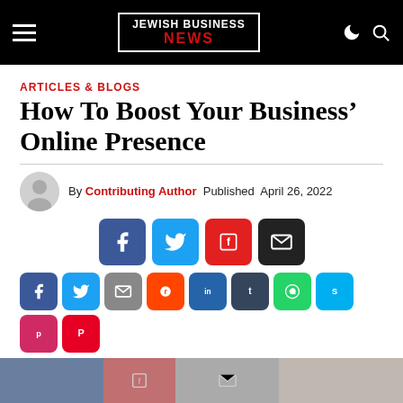JEWISH BUSINESS NEWS
ARTICLES & BLOGS
How To Boost Your Business' Online Presence
By Contributing Author  Published  April 26, 2022
[Figure (infographic): Social share buttons row: Facebook, Twitter, Flipboard, Email (large), then a second row of smaller buttons: Facebook, Twitter, Email, Reddit, LinkedIn, Tumblr, WhatsApp, Skype, Pocket, Pinterest, and a plus/more button]
[Figure (photo): Bottom preview strip showing partial website/article imagery]